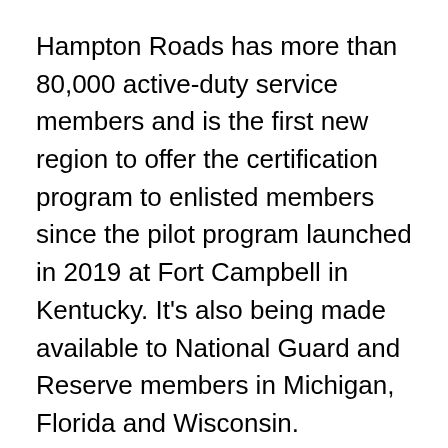Hampton Roads has more than 80,000 active-duty service members and is the first new region to offer the certification program to enlisted members since the pilot program launched in 2019 at Fort Campbell in Kentucky. It's also being made available to National Guard and Reserve members in Michigan, Florida and Wisconsin.
Doug Smith, president and CEO of the Hampton Roads Alliance, addressed the region's need for 10,000 assemblers, fabricators, machinists and other roles to meet the workforce demands of the Navy's 30-year shipbuilding plan and 15-year submarine maintenance plan, along with other points about the importance of the...